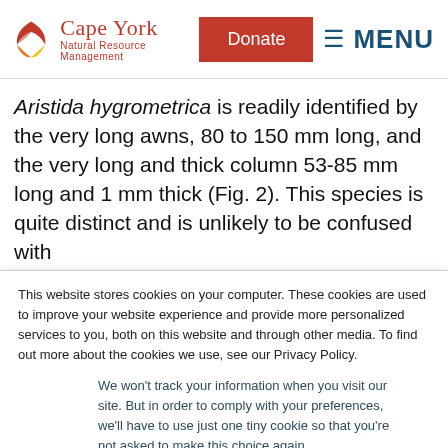Cape York Natural Resource Management — Donate — MENU
Aristida hygrometrica is readily identified by the very long awns, 80 to 150 mm long, and the very long and thick column 53-85 mm long and 1 mm thick (Fig. 2). This species is quite distinct and is unlikely to be confused with other grass species. Aristida holotheca and Aristida contorta...
This website stores cookies on your computer. These cookies are used to improve your website experience and provide more personalized services to you, both on this website and through other media. To find out more about the cookies we use, see our Privacy Policy.
We won't track your information when you visit our site. But in order to comply with your preferences, we'll have to use just one tiny cookie so that you're not asked to make this choice again.